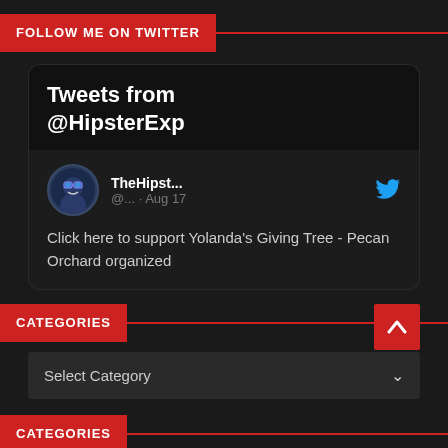FOLLOW ME ON TWITTER
[Figure (screenshot): Twitter widget showing 'Tweets from @HipsterExp' with a tweet from TheHipst... (@...) dated Aug 17 saying 'Click here to support Yolanda's Giving Tree - Pecan Orchard organized']
CATEGORIES
Select Category
CATEGORIES
Select Cate...